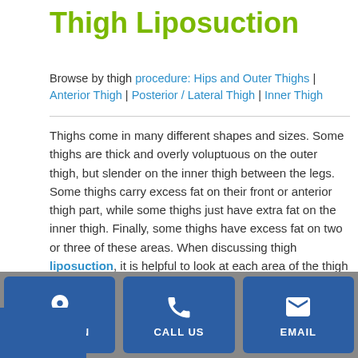Thigh Liposuction
Browse by thigh procedure: Hips and Outer Thighs | Anterior Thigh | Posterior / Lateral Thigh | Inner Thigh
Thighs come in many different shapes and sizes. Some thighs are thick and overly voluptuous on the outer thigh, but slender on the inner thigh between the legs. Some thighs carry excess fat on their front or anterior thigh part, while some thighs just have extra fat on the inner thigh. Finally, some thighs have excess fat on two or three of these areas. When discussing thigh liposuction, it is helpful to look at each area of the thigh separately.
The shape and fat distribution in thighs are largely determined by our DNA. This is why it may be hard to keep the fat off – even with diet and exercise. Now there’s a way to permanently and safely remove excess fat – with liposuction.
[Figure (infographic): Contact Us vertical sidebar button in blue]
[Figure (infographic): Bottom navigation bar with Location, Call Us, and Email buttons]